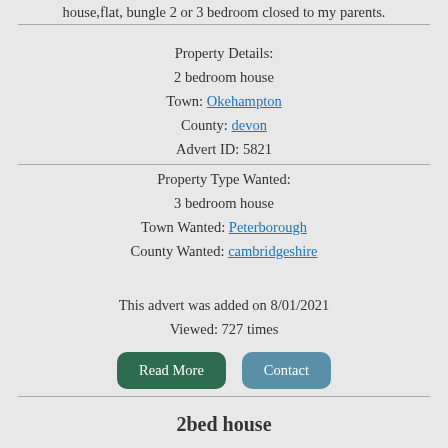house,flat, bungle 2 or 3 bedroom closed to my parents.
Property Details:
2 bedroom house
Town: Okehampton
County: devon
Advert ID: 5821
Property Type Wanted:
3 bedroom house
Town Wanted: Peterborough
County Wanted: cambridgeshire
This advert was added on 8/01/2021
Viewed: 727 times
Read More   Contact
2bed house